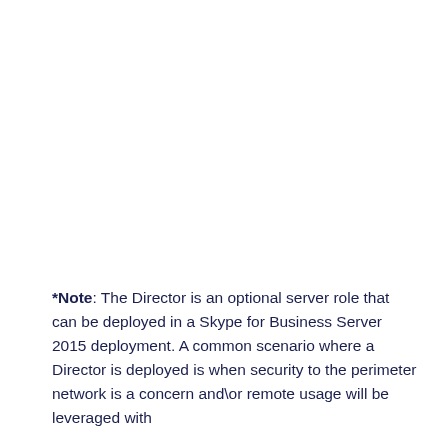*Note: The Director is an optional server role that can be deployed in a Skype for Business Server 2015 deployment. A common scenario where a Director is deployed is when security to the perimeter network is a concern and\or remote usage will be leveraged with